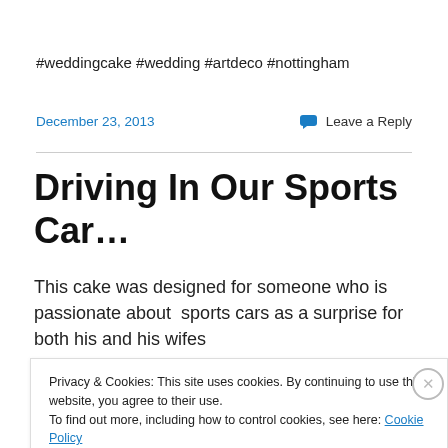#weddingcake #wedding #artdeco #nottingham
December 23, 2013
Leave a Reply
Driving In Our Sports Car…
This cake was designed for someone who is passionate about  sports cars as a surprise for both his and his wifes
Privacy & Cookies: This site uses cookies. By continuing to use this website, you agree to their use.
To find out more, including how to control cookies, see here: Cookie Policy
Close and accept